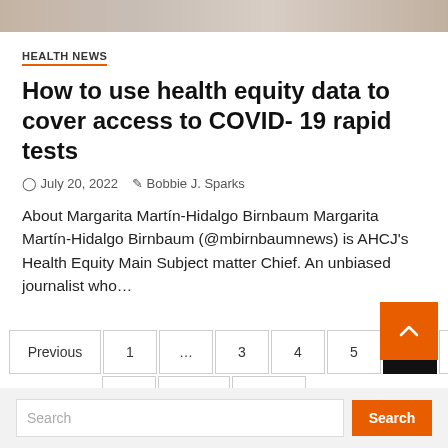[Figure (photo): Partial view of a person's face/portrait image, cropped at top of page]
HEALTH NEWS
How to use health equity data to cover access to COVID-19 rapid tests
July 20, 2022   Bobbie J. Sparks
About Margarita Martín-Hidalgo Birnbaum Margarita Martín-Hidalgo Birnbaum (@mbirnbaumnews) is AHCJ's Health Equity Main Subject matter Chief. An unbiased journalist who...
Pagination: Previous 1 … 3 4 5 6 7 8 9 … 122 Next